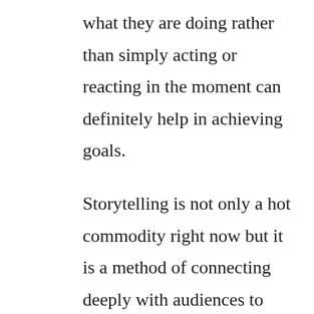what they are doing rather than simply acting or reacting in the moment can definitely help in achieving goals.
Storytelling is not only a hot commodity right now but it is a method of connecting deeply with audiences to deliver the emotional impact and create the trust needed to drive the action you seek. Crafting th…